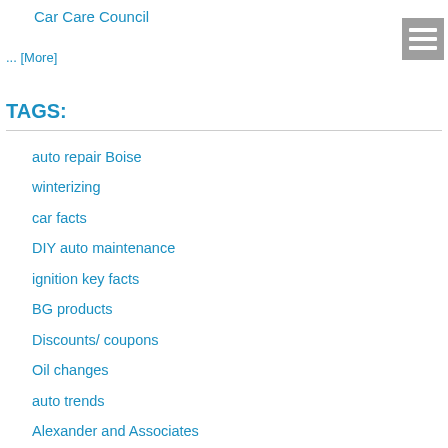Car Care Council
... [More]
TAGS:
auto repair Boise
winterizing
car facts
DIY auto maintenance
ignition key facts
BG products
Discounts/ coupons
Oil changes
auto trends
Alexander and Associates
Boise public relations firm